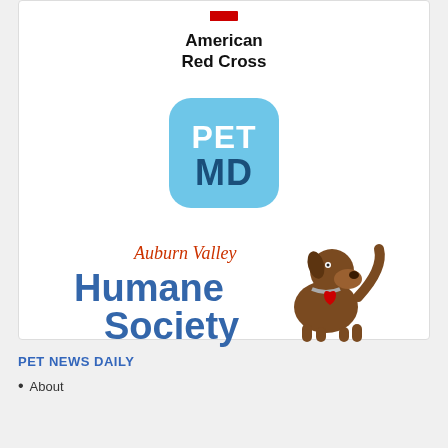[Figure (logo): American Red Cross logo with red cross icon and bold black text 'American Red Cross']
[Figure (logo): PET MD logo - light blue rounded square with white 'PET' text on top and dark blue 'MD' text below]
[Figure (logo): Auburn Valley Humane Society logo with blue text and brown cartoon dog illustration]
PET NEWS DAILY
About